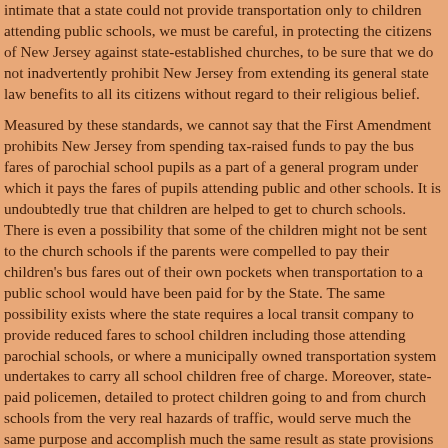intimate that a state could not provide transportation only to children attending public schools, we must be careful, in protecting the citizens of New Jersey against state-established churches, to be sure that we do not inadvertently prohibit New Jersey from extending its general state law benefits to all its citizens without regard to their religious belief.
Measured by these standards, we cannot say that the First Amendment prohibits New Jersey from spending tax-raised funds to pay the bus fares of parochial school pupils as a part of a general program under which it pays the fares of pupils attending public and other schools. It is undoubtedly true that children are helped to get to church schools. There is even a possibility that some of the children might not be sent to the church schools if the parents were compelled to pay their children's bus fares out of their own pockets when transportation to a public school would have been paid for by the State. The same possibility exists where the state requires a local transit company to provide reduced fares to school children including those attending parochial schools, or where a municipally owned transportation system undertakes to carry all school children free of charge. Moreover, state-paid policemen, detailed to protect children going to and from church schools from the very real hazards of traffic, would serve much the same purpose and accomplish much the same result as state provisions intended to guarantee free transportation of a kind which the state deems to be best for the school children's welfare. And parents might refuse to risk their